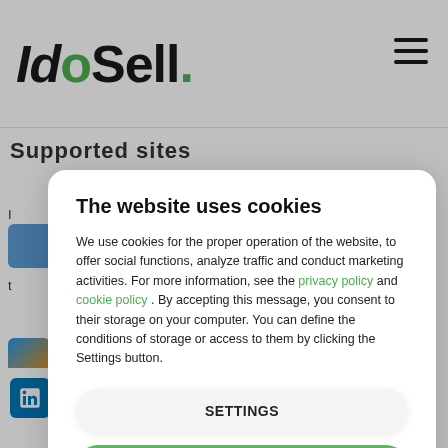IdoSell.
Supported sites
The website uses cookies
We use cookies for the proper operation of the website, to offer social functions, analyze traffic and conduct marketing activities. For more information, see the privacy policy and cookie policy . By accepting this message, you consent to their storage on your computer. You can define the conditions of storage or access to them by clicking the Settings button.
SETTINGS
AGREE
LinkedIn - login and password entered while logging in through LinkedIn (soon).